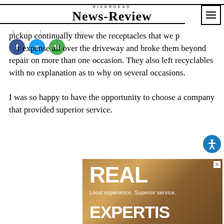RIVERHEAD NEWS-REVIEW
pickup continually threw the receptacles that we provided at our expense all over the driveway and broke them beyond repair on more than one occasion. They also left recyclables with no explanation as to why on several occasions.
I was so happy to have the opportunity to choose a company that provided superior service.
[Figure (photo): Advertisement banner with text: REAL Local experience. Superior service. EXPERTISE]